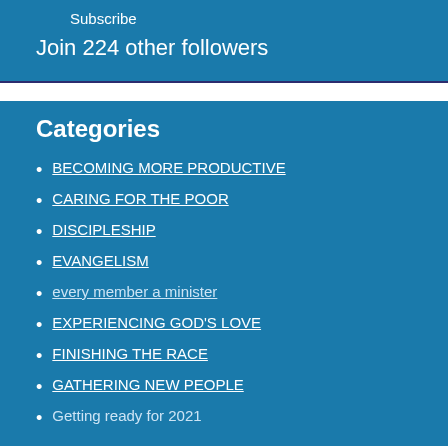Subscribe
Join 224 other followers
Categories
BECOMING MORE PRODUCTIVE
CARING FOR THE POOR
DISCIPLESHIP
EVANGELISM
every member a minister
EXPERIENCING GOD'S LOVE
FINISHING THE RACE
GATHERING NEW PEOPLE
Getting ready for 2021